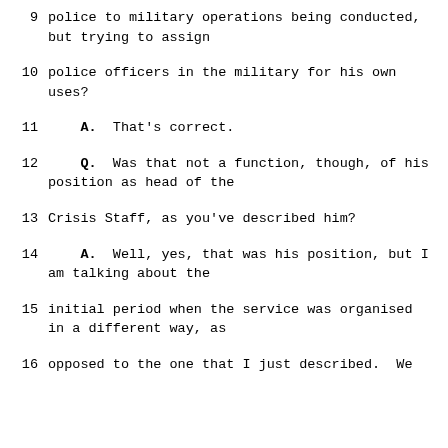9    police to military operations being conducted, but trying to assign
10    police officers in the military for his own uses?
11        A.   That's correct.
12        Q.   Was that not a function, though, of his position as head of the
13    Crisis Staff, as you've described him?
14        A.   Well, yes, that was his position, but I am talking about the
15    initial period when the service was organised in a different way, as
16    opposed to the one that I just described.  We